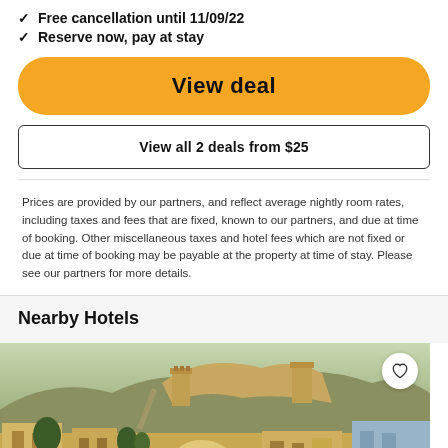Free cancellation until 11/09/22
Reserve now, pay at stay
View deal
View all 2 deals from $25
Prices are provided by our partners, and reflect average nightly room rates, including taxes and fees that are fixed, known to our partners, and due at time of booking. Other miscellaneous taxes and hotel fees which are not fixed or due at time of booking may be payable at the property at time of stay. Please see our partners for more details.
Nearby Hotels
[Figure (photo): Photo of a nearby hotel showing a historic fort or palace on a rocky hillside with buildings in the foreground, Jaipur-style architecture]